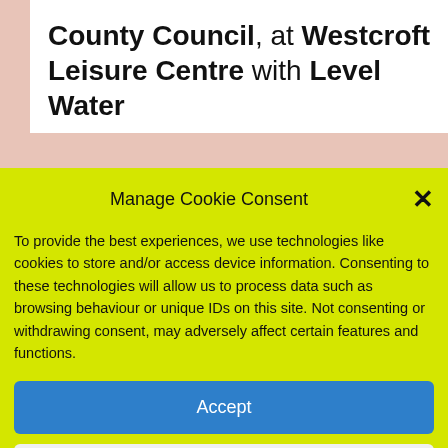County Council, at Westcroft Leisure Centre with Level Water
Manage Cookie Consent
To provide the best experiences, we use technologies like cookies to store and/or access device information. Consenting to these technologies will allow us to process data such as browsing behaviour or unique IDs on this site. Not consenting or withdrawing consent, may adversely affect certain features and functions.
Accept
Deny
View preferences
Cookies   Data Protection – how we handle listener and volunteer data